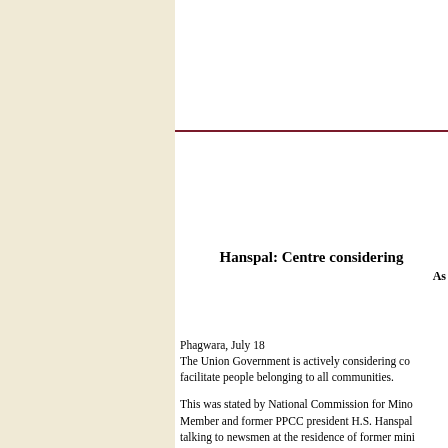Hanspal: Centre considering... As...
Phagwara, July 18
The Union Government is actively considering co... facilitate people belonging to all communities.

This was stated by National Commission for Mino... Member and former PPCC president H.S. Hanspal... talking to newsmen at the residence of former mini... Joginder Singh Maan after condoling the death of K... Kaur Maan, wife of Maan, this afternoon.